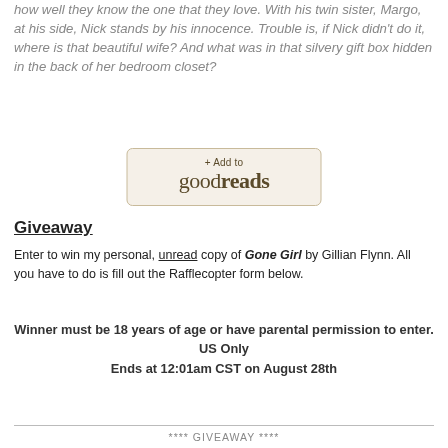how well they know the one that they love. With his twin sister, Margo, at his side, Nick stands by his innocence. Trouble is, if Nick didn't do it, where is that beautiful wife? And what was in that silvery gift box hidden in the back of her bedroom closet?
[Figure (logo): + Add to goodreads button with beige/cream background and brown border]
Giveaway
Enter to win my personal, unread copy of Gone Girl by Gillian Flynn. All you have to do is fill out the Rafflecopter form below.
Winner must be 18 years of age or have parental permission to enter.
US Only
Ends at 12:01am CST on August 28th
**** GIVEAWAY ****